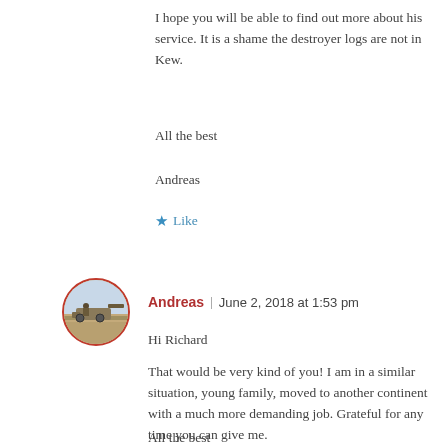I hope you will be able to find out more about his service. It is a shame the destroyer logs are not in Kew.
All the best
Andreas
★ Like
[Figure (photo): Circular avatar photo of a person with military equipment in a desert setting, framed with a red circular border]
Andreas | June 2, 2018 at 1:53 pm
Hi Richard
That would be very kind of you! I am in a similar situation, young family, moved to another continent with a much more demanding job. Grateful for any time you can give me.
All the best